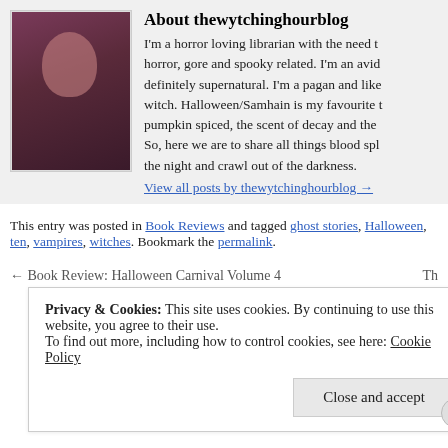About thewytchinghourblog
[Figure (photo): Profile photo of a woman with dark red/purple hair against a dark background]
I'm a horror loving librarian with the need to write about all things horror, gore and spooky related. I'm an avid believer in things definitely supernatural. I'm a pagan and like to think of myself as a witch. Halloween/Samhain is my favourite time of year; everything pumpkin spiced, the scent of decay and the rustle of dead leaves. So, here we are to share all things blood splattered. Come out into the night and crawl out of the darkness.
View all posts by thewytchinghourblog →
This entry was posted in Book Reviews and tagged ghost stories, Halloween, ten, vampires, witches. Bookmark the permalink.
← Book Review: Halloween Carnival Volume 4
Privacy & Cookies: This site uses cookies. By continuing to use this website, you agree to their use.
To find out more, including how to control cookies, see here: Cookie Policy
Close and accept